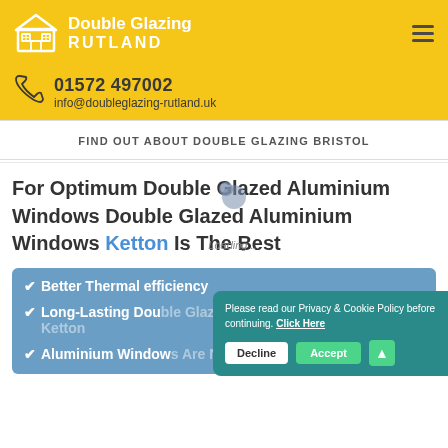Double Glazing RUTLAND
01572 497002
info@doubleglazing-rutland.uk
FIND OUT ABOUT DOUBLE GLAZING BRISTOL
For Optimum Double Glazed Aluminium Windows Double Glazed Aluminium Windows Ketton Is The Best
Better Thermal efficiency
Long-Lasting Double Glazed Aluminium Windows In Ketton
Aluminium Windows Are Not Expensive
Please read our Privacy & Cookie Policy before continuing. Click Here
Decline  Accept